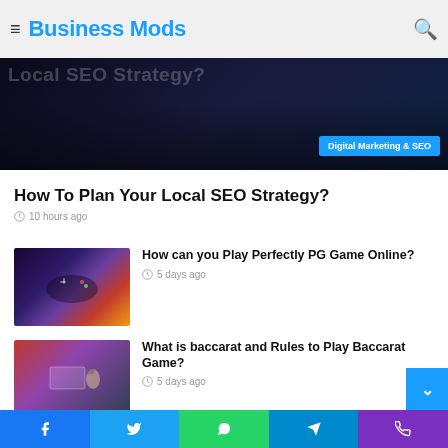Business Mods
[Figure (photo): Dark hero image with 'Local SEO Strategy?' overlay text and 'Digital Marketing & SEO' blue badge]
How To Plan Your Local SEO Strategy?
10 hours ago
[Figure (photo): Gaming controller thumbnail image]
How can you Play Perfectly PG Game Online?
5 days ago
[Figure (photo): Person with headset playing computer game thumbnail]
What is baccarat and Rules to Play Baccarat Game?
5 days ago
[Figure (photo): Colorful abstract gaming thumbnail]
How Can You Play and Win PG AUTO Game?
Facebook | Twitter | WhatsApp | Telegram | Phone